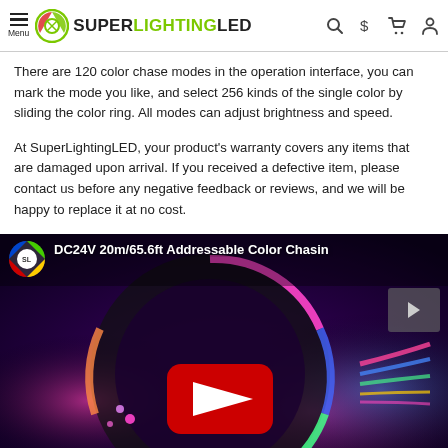SuperLightingLED — Menu, Logo, Search, Currency, Cart, Account icons
There are 120 color chase modes in the operation interface, you can mark the mode you like, and select 256 kinds of the single color by sliding the color ring. All modes can adjust brightness and speed.
At SuperLightingLED, your product's warranty covers any items that are damaged upon arrival. If you received a defective item, please contact us before any negative feedback or reviews, and we will be happy to replace it at no cost.
[Figure (screenshot): YouTube video thumbnail showing a coiled RGB LED strip light with colorful lighting effects (pink, blue, green, rainbow) on a dark purple background. Video title reads 'DC24V 20m/65.6ft Addressable Color Chasing' with a SuperLightingLED channel icon. A red YouTube play button is visible in the center.]